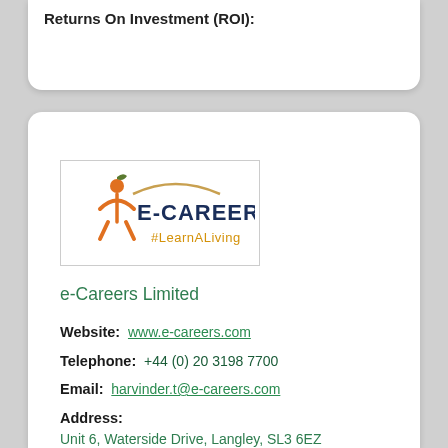Returns On Investment (ROI):
[Figure (logo): e-Careers logo with orange figure, arc, E-CAREERS text and #LearnALiving tagline]
e-Careers Limited
Website: www.e-careers.com
Telephone: +44 (0) 20 3198 7700
Email: harvinder.t@e-careers.com
Address:
Unit 6, Waterside Drive, Langley, SL3 6EZ
We're an EdTech organisation, providing a range of industry